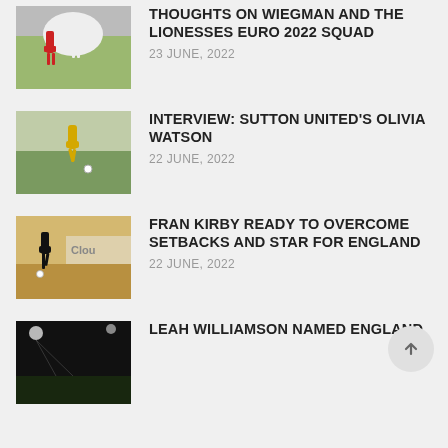[Figure (photo): Soccer player in red kit during a match]
THOUGHTS ON WIEGMAN AND THE LIONESSES EURO 2022 SQUAD
23 JUNE, 2022
[Figure (photo): Soccer player in yellow kit jumping during a match]
INTERVIEW: SUTTON UNITED'S OLIVIA WATSON
22 JUNE, 2022
[Figure (photo): Soccer player in black kit running with 'Clou' advertisement in background]
FRAN KIRBY READY TO OVERCOME SETBACKS AND STAR FOR ENGLAND
22 JUNE, 2022
[Figure (photo): Soccer player at night stadium]
LEAH WILLIAMSON NAMED ENGLAND